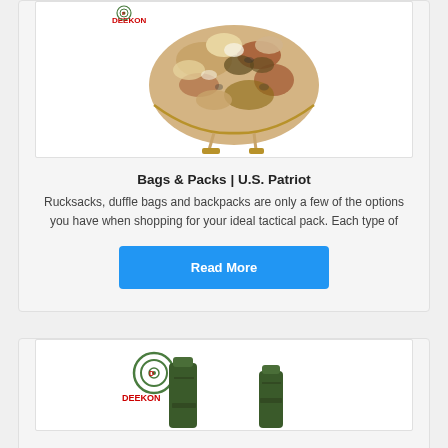[Figure (photo): Military helmet with desert camouflage cover, viewed from the side/back, with DEEKON logo in red at the top left of the image frame.]
Bags & Packs | U.S. Patriot
Rucksacks, duffle bags and backpacks are only a few of the options you have when shopping for your ideal tactical pack. Each type of
[Figure (other): Read More button (blue rectangle with white bold text)]
[Figure (photo): Two green military utility items / pouches with DEEKON logo in red, shown against a white background.]